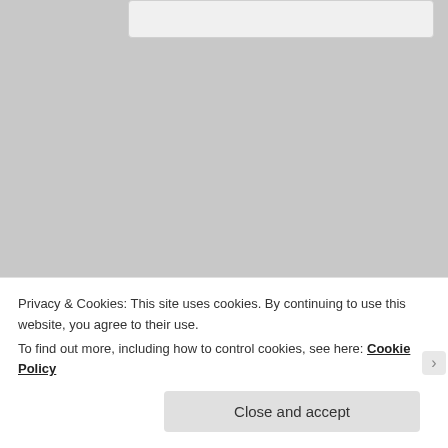[Figure (screenshot): Partial top of a comment box, gray background, cropped at top edge]
[Figure (illustration): Tree illustration used as avatar for user sobrietytree]
sobrietytree on May 2, 2020 at 6:50 pm said:
“Sober as a bitten fingernail” – wow. Brilliant. And the first book that popped into my mind is The
Privacy & Cookies: This site uses cookies. By continuing to use this website, you agree to their use.
To find out more, including how to control cookies, see here: Cookie Policy
Close and accept